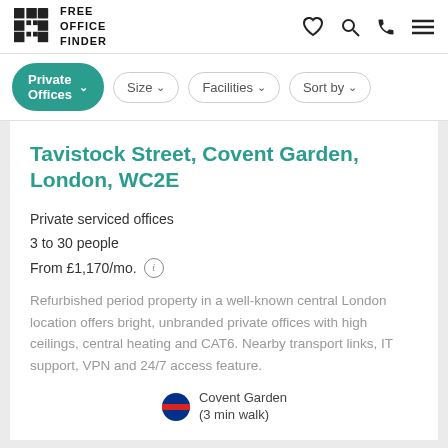FREE OFFICE FINDER
Private Offices
Size
Facilities
Sort by
Tavistock Street, Covent Garden, London, WC2E
Private serviced offices
3 to 30 people
From £1,170/mo.
Refurbished period property in a well-known central London location offers bright, unbranded private offices with high ceilings, central heating and CAT6. Nearby transport links, IT support, VPN and 24/7 access feature.
Covent Garden (3 min walk)